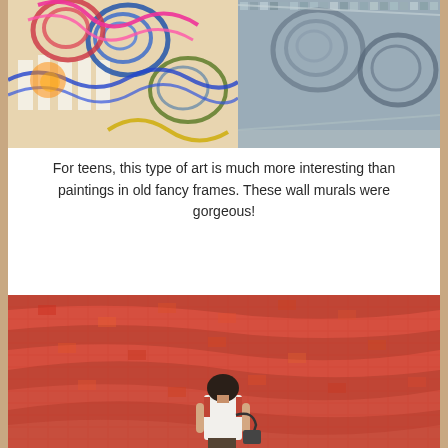[Figure (photo): Close-up photo of colorful swirling wall murals with vibrant patterns in a gallery or museum interior, showing left wall with bold multicolor swirls and right wall with intricate mosaic-like patterns.]
For teens, this type of art is much more interesting than paintings in old fancy frames. These wall murals were gorgeous!
[Figure (photo): Photo of a large red mosaic or tile wall artwork with undulating wave-like surface, a person standing in front of the artwork viewing it from behind, wearing a white sleeveless top.]